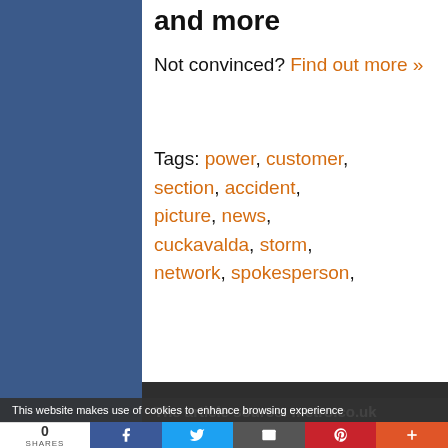and more
Not convinced? Find out more »
Tags: power, customer, section, accident, picture, news, cuckavalda, storm, network, spokesperson,
The article source: metro.co.uk
This website makes use of cookies to enhance browsing experience
0 SHARES [Facebook] [Twitter] [Email] [Pinterest] [More]